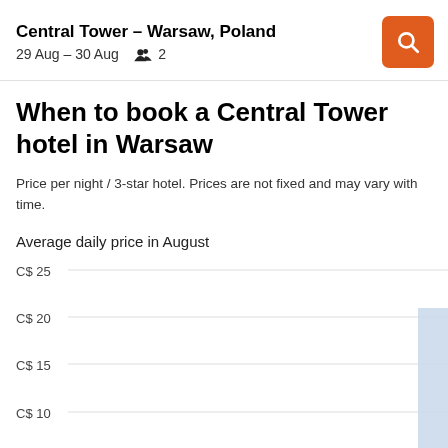Central Tower - Warsaw, Poland
29 Aug – 30 Aug  2
When to book a Central Tower hotel in Warsaw
Price per night / 3-star hotel. Prices are not fixed and may vary with time.
Average daily price in August
[Figure (bar-chart): Average daily price in August]